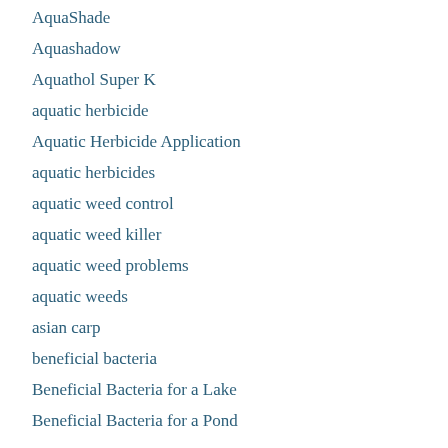AquaShade
Aquashadow
Aquathol Super K
aquatic herbicide
Aquatic Herbicide Application
aquatic herbicides
aquatic weed control
aquatic weed killer
aquatic weed problems
aquatic weeds
asian carp
beneficial bacteria
Beneficial Bacteria for a Lake
Beneficial Bacteria for a Pond